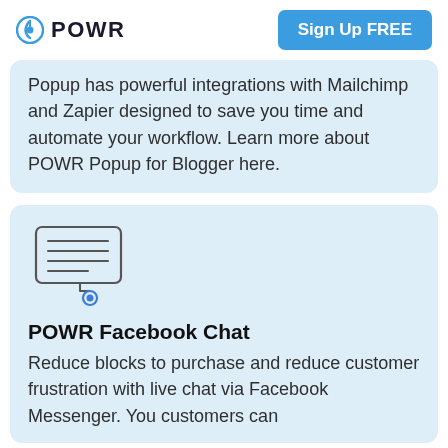POWR   Sign Up FREE
Popup has powerful integrations with Mailchimp and Zapier designed to save you time and automate your workflow. Learn more about POWR Popup for Blogger here.
[Figure (illustration): Chat bubble icon with lines of text inside and a small circle/dot below it, on a light blue background]
POWR Facebook Chat
Reduce blocks to purchase and reduce customer frustration with live chat via Facebook Messenger. You customers can